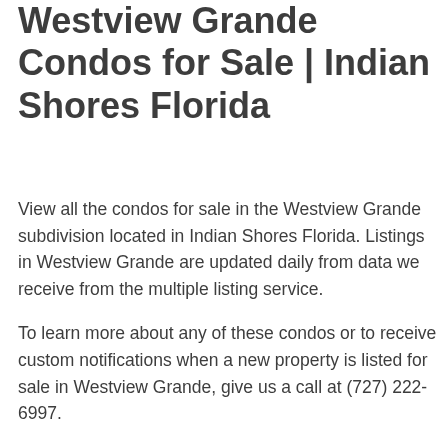Westview Grande Condos for Sale | Indian Shores Florida
View all the condos for sale in the Westview Grande subdivision located in Indian Shores Florida. Listings in Westview Grande are updated daily from data we receive from the multiple listing service.
To learn more about any of these condos or to receive custom notifications when a new property is listed for sale in Westview Grande, give us a call at (727) 222-6997.
No current listings, please check back later.